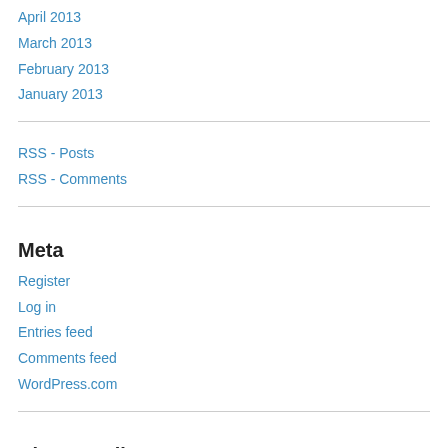April 2013
March 2013
February 2013
January 2013
RSS - Posts
RSS - Comments
Meta
Register
Log in
Entries feed
Comments feed
WordPress.com
Blogs I Follow